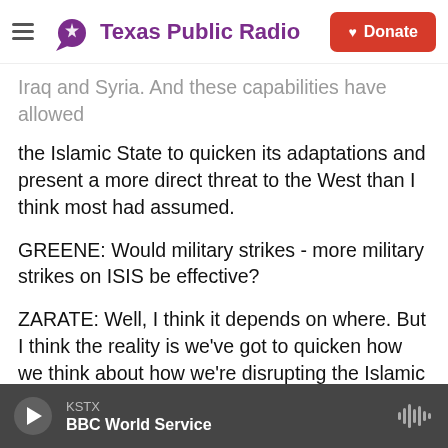Texas Public Radio | Donate
Iraq and Syria. And these capabilities have allowed the Islamic State to quicken its adaptations and present a more direct threat to the West than I think most had assumed.
GREENE: Would military strikes - more military strikes on ISIS be effective?
ZARATE: Well, I think it depends on where. But I think the reality is we've got to quicken how we think about how we're disrupting the Islamic State's ability to operate. They still operate in major cities in the Middle East. They still occupy Mosul, the second-largest city in Iraq. They occupy now Sirte
KSTX | BBC World Service